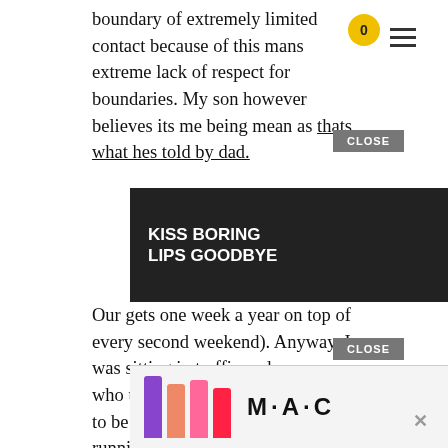boundary of extremely limited contact because of this mans extreme lack of respect for boundaries. My son however believes its me being mean as thats what hes told by dad.
[Figure (screenshot): Macy's advertisement banner: 'KISS BORING LIPS GOODBYE' with woman wearing red lipstick and 'SHOP NOW' button with Macy's star logo]
Our [text obscured by ad] gets one week a year on top of every second weekend). Anyway, I was sitting in traffic and my ex who unbeknownst to me happened to be a few cars behind came running up to my car window panicked saying our son got in BIG trouble at school and asked if we could talk. Worried, I broke my no contact rule and pulled over. He was naming off all these bad behaviours, calling our son a bully, spoiled brat a liar and blaming me in a “kind” way. I dont see this child this way AT ALL and I said as much but he then proceeded to try and co[nfront] me [he liste...]
[Figure (screenshot): MAC cosmetics advertisement banner with colorful lipsticks and 'SHOP NOW' button]